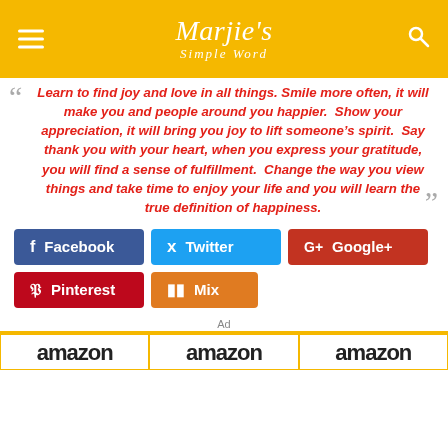[Figure (logo): Marjie's Simple Word website header with yellow/gold background, hamburger menu icon on left, stylized cursive logo in center, search icon on right]
Learn to find joy and love in all things. Smile more often, it will make you and people around you happier. Show your appreciation, it will bring you joy to lift someone’s spirit. Say thank you with your heart, when you express your gratitude, you will find a sense of fulfillment. Change the way you view things and take time to enjoy your life and you will learn the true definition of happiness.
[Figure (infographic): Social share buttons: Facebook (dark blue), Twitter (light blue), Google+ (red), Pinterest (dark red), Mix (orange)]
Ad
[Figure (infographic): Three Amazon advertisement banners in a row]